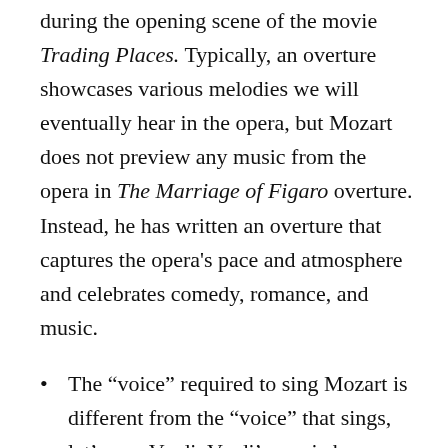during the opening scene of the movie Trading Places. Typically, an overture showcases various melodies we will eventually hear in the opera, but Mozart does not preview any music from the opera in The Marriage of Figaro overture. Instead, he has written an overture that captures the opera's pace and atmosphere and celebrates comedy, romance, and music.
The “voice” required to sing Mozart is different from the “voice” that sings, let’s say, Verdi. Verdi’s music has a chunkier orchestra than Mozart’s music does. Mozart wrote music to be sung in a smaller theater (under 1,000 seats) with a smaller orchestra —which means that Verdi’s music is more